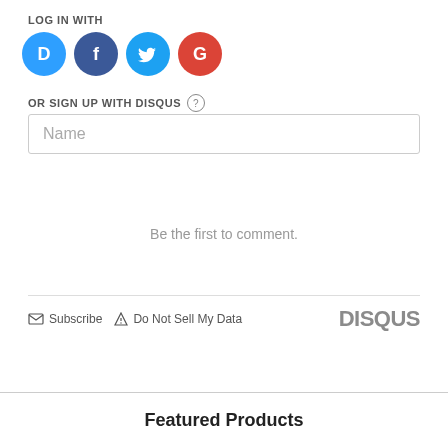LOG IN WITH
[Figure (illustration): Four social login icons: Disqus (blue), Facebook (dark blue), Twitter (light blue), Google (red)]
OR SIGN UP WITH DISQUS ?
Name
Be the first to comment.
Subscribe   Do Not Sell My Data   DISQUS
Featured Products